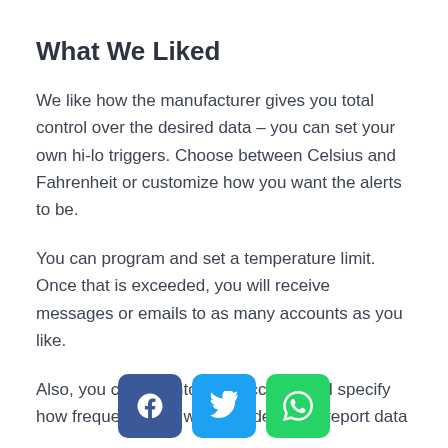What We Liked
We like how the manufacturer gives you total control over the desired data – you can set your own hi-lo triggers. Choose between Celsius and Fahrenheit or customize how you want the alerts to be.
You can program and set a temperature limit. Once that is exceeded, you will receive messages or emails to as many accounts as you like.
Also, you can log into your account and specify how frequently you want the device to report data
[Figure (infographic): Social sharing buttons: Facebook (blue), Twitter (light blue), WhatsApp (green)]